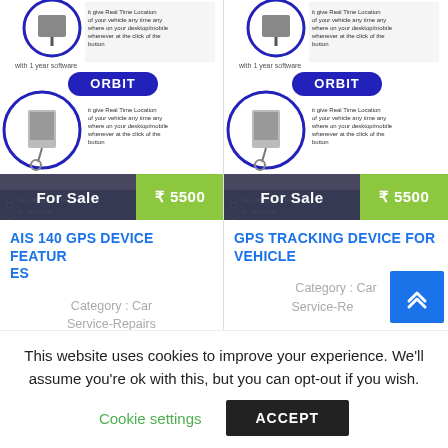[Figure (photo): Product listing card for AIS 140 GPS Device: shows ORBIT GPS tracker device advertisement image with 'For Sale' label and price ₹ 5500]
AIS 140 GPS DEVICE FEATURES
Category : Car Service-Repairs
[Figure (photo): Product listing card for GPS Tracking Device for Vehicle: shows ORBIT GPS tracker device advertisement image with 'For Sale' label and price ₹ 5500]
GPS TRACKING DEVICE FOR VEHICLE
Category : Car Service-Repairs
This website uses cookies to improve your experience. We'll assume you're ok with this, but you can opt-out if you wish.
Cookie settings
ACCEPT